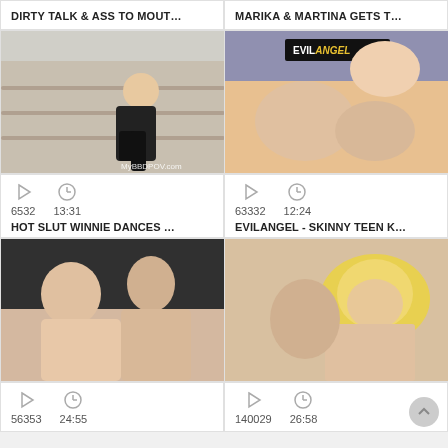DIRTY TALK & ASS TO MOUT...
MARIKA & MARTINA GETS T...
[Figure (photo): Video thumbnail showing woman in black outfit, MyBBDPOV.com watermark]
[Figure (photo): Video thumbnail with EVILANGEL logo watermark]
6532  13:31
HOT SLUT WINNIE DANCES ...
63332  12:24
EVILANGEL - SKINNY TEEN K...
[Figure (photo): Video thumbnail showing two people]
[Figure (photo): Video thumbnail showing blonde woman]
56353  24:55
140029  26:58